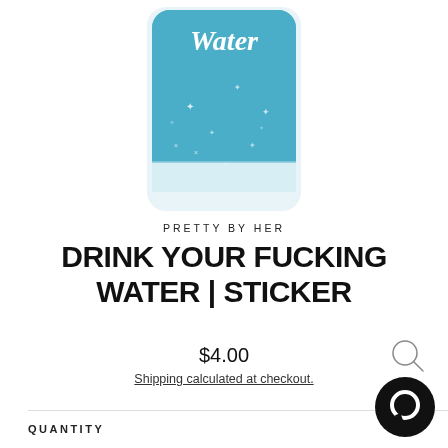[Figure (illustration): A sticker illustration of a glass of water with blue liquid, sparkles/stars inside, and the word 'Water' written in white script at the top. The glass has a white border/sticker outline.]
PRETTY BY HER
DRINK YOUR FUCKING WATER | STICKER
$4.00
Shipping calculated at checkout.
QUANTITY
[Figure (logo): Black circular chat/messaging button icon in the bottom right corner.]